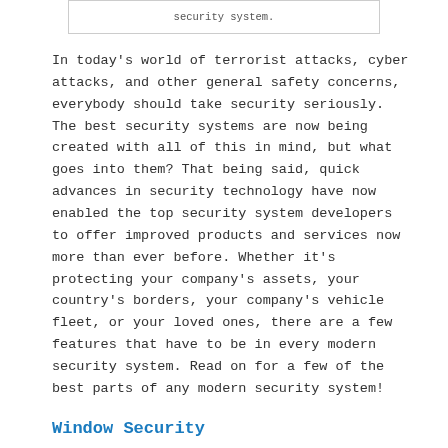security system.
In today's world of terrorist attacks, cyber attacks, and other general safety concerns, everybody should take security seriously. The best security systems are now being created with all of this in mind, but what goes into them? That being said, quick advances in security technology have now enabled the top security system developers to offer improved products and services now more than ever before. Whether it's protecting your company's assets, your country's borders, your company's vehicle fleet, or your loved ones, there are a few features that have to be in every modern security system. Read on for a few of the best parts of any modern security system!
Window Security